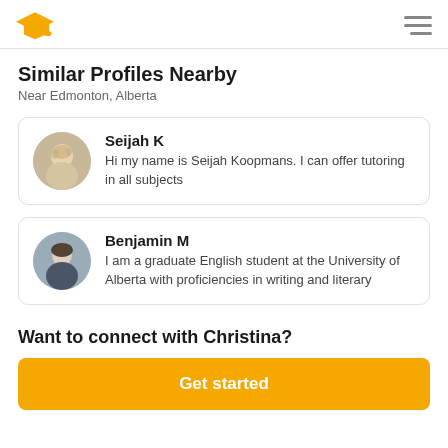Logo and navigation menu
Similar Profiles Nearby
Near Edmonton, Alberta
Seijah K
Hi my name is Seijah Koopmans. I can offer tutoring in all subjects
Benjamin M
I am a graduate English student at the University of Alberta with proficiencies in writing and literary
Want to connect with Christina?
Get started